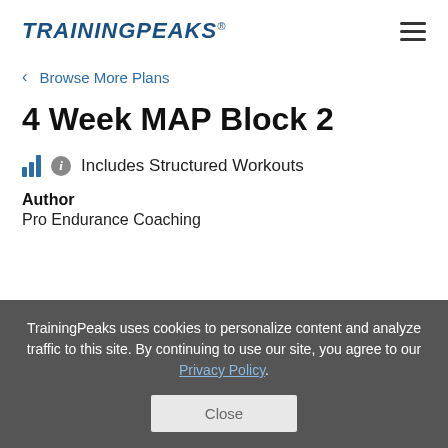TRAININGPEAKS
< Browse More Plans
4 Week MAP Block 2
Includes Structured Workouts
Author
Pro Endurance Coaching
TrainingPeaks uses cookies to personalize content and analyze traffic to this site. By continuing to use our site, you agree to our Privacy Policy.
Close